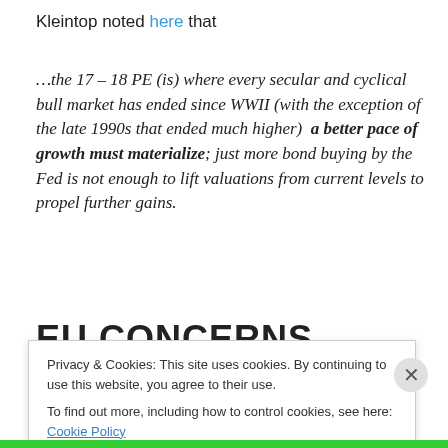Kleintop noted here that
…the 17 – 18 PE (is) where every secular and cyclical bull market has ended since WWII (with the exception of the late 1990s that ended much higher)  a better pace of growth must materialize; just more bond buying by the Fed is not enough to lift valuations from current levels to propel further gains.
EU CONCERNS
Privacy & Cookies: This site uses cookies. By continuing to use this website, you agree to their use.
To find out more, including how to control cookies, see here: Cookie Policy